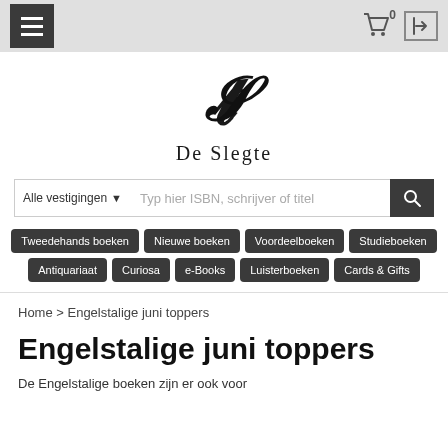De Slegte navigation header with hamburger menu, cart (0), and login icons
[Figure (logo): De Slegte logo: stylized JS monogram with serif lettering 'De Slegte' below]
Alle vestigingen ▼   Typ hier ISBN, schrijver of titel 🔍
Tweedehands boeken
Nieuwe boeken
Voordeelboeken
Studieboeken
Antiquariaat
Curiosa
e-Books
Luisterboeken
Cards & Gifts
Home > Engelstalige juni toppers
Engelstalige juni toppers
De Engelstalige boeken zijn er ook voor